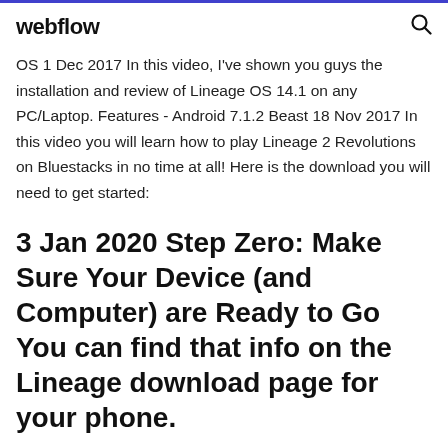webflow
OS  1 Dec 2017 In this video, I've shown you guys the installation and review of Lineage OS 14.1 on any PC/Laptop. Features - Android 7.1.2 Beast  18 Nov 2017 In this video you will learn how to play Lineage 2 Revolutions on Bluestacks in no time at all! Here is the download you will need to get started:
3 Jan 2020 Step Zero: Make Sure Your Device (and Computer) are Ready to Go You can find that info on the Lineage download page for your phone.
27 Nov 2019 Download Lineage 2M Purple